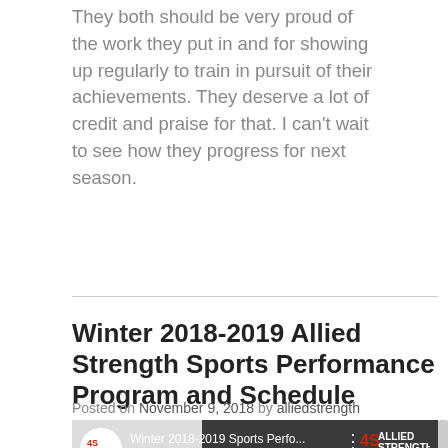They both should be very proud of the work they put in and for showing up regularly to train in pursuit of their achievements. They deserve a lot of credit and praise for that. I can't wait to see how they progress for next season.
Winter 2018-2019 Allied Strength Sports Performance Program and Schedule
Posted on November 9, 2018 by alliedstrength
[Figure (screenshot): YouTube video thumbnail for 'Winter 2018-2019 Sports Perfo...' by Allied Strength channel, showing girls training in a gym with kettlebells and agility equipment. Red YouTube play button visible in center.]